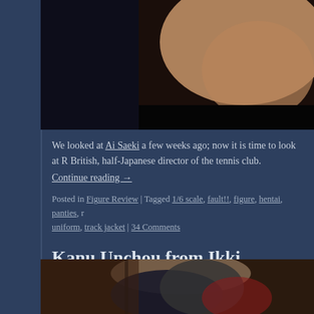[Figure (photo): Close-up photo of an anime figure with skin-toned surface against dark background, partially cropped at top of page]
We looked at Ai Saeki a few weeks ago; now it is time to look at R British, half-Japanese director of the tennis club.
Continue reading →
Posted in Figure Review | Tagged 1/6 scale, fault!!, figure, hentai, panties, r uniform, track jacket | 34 Comments
Kanu Unchou from Ikki Tousen: Xtreme X
written on November 17, 2012 by Tier
[Figure (photo): Close-up photo of an anime figure with dark hair accessories and red/dark clothing on brown background]